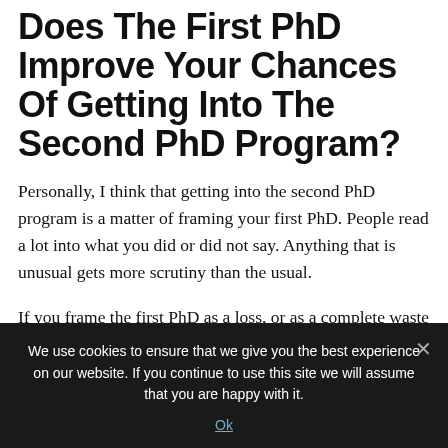Does The First PhD Improve Your Chances Of Getting Into The Second PhD Program?
Personally, I think that getting into the second PhD program is a matter of framing your first PhD. People read a lot into what you did or did not say. Anything that is unusual gets more scrutiny than the usual.
If you frame the first PhD as a loss, or as a complete waste of time, then I really don't think you will have good chances of getting into the second PhD
We use cookies to ensure that we give you the best experience on our website. If you continue to use this site we will assume that you are happy with it.
Ok